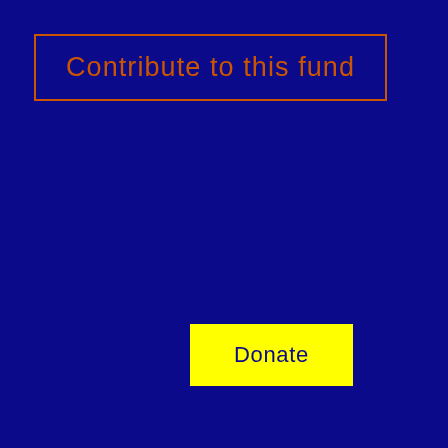Contribute to this fund
Donate